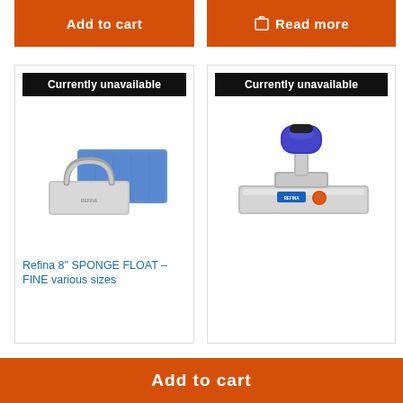[Figure (other): Orange 'Add to cart' button]
[Figure (other): Orange 'Read more' button with shopping bag icon]
[Figure (photo): Refina 8 inch sponge float with blue sponge pad and silver handle, with 'Currently unavailable' badge]
Refina 8" SPONGE FLOAT – FINE various sizes
[Figure (photo): Refina trowel/finishing float with blue soft-grip handle and stainless steel blade, with 'Currently unavailable' badge]
[Figure (other): Orange 'Add to cart' button at bottom of page]